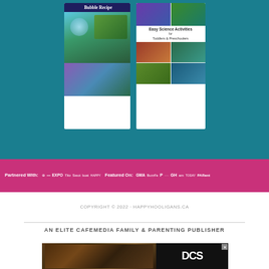[Figure (illustration): Two book/activity guide covers on teal background. Left: 'Bubble Recipe' book with photos of children blowing bubbles. Right: 'Easy Science Activities for Toddlers & Preschoolers' guide with grid of child activity photos.]
[Figure (infographic): Pink bar showing partner logos (Partnered With:) and featured-on logos (Featured On:) including EXPO, GMA, GH, am, Parent and others in white on magenta/pink background.]
COPYRIGHT © 2022 · HAPPYHOOLIGANS.CA
AN ELITE CAFEMEDIA FAMILY & PARENTING PUBLISHER
[Figure (photo): Advertisement photo showing grilled meat with DCS logo/brand on dark background, with close button X.]